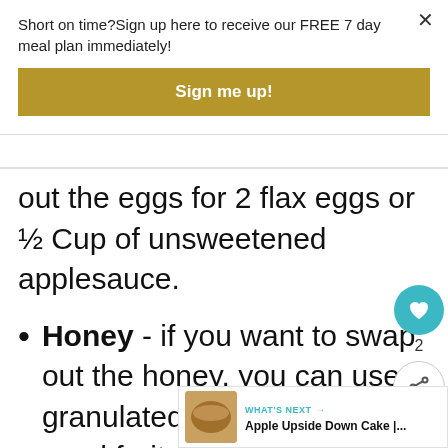Short on time?Sign up here to receive our FREE 7 day meal plan immediately!
Sign me up!
out the eggs for 2 flax eggs or ½ Cup of unsweetened applesauce.
Honey - if you want to swap out the honey, you can use a granulated vegan sugar monkfruit sweetener, using the
WHAT'S NEXT → Apple Upside Down Cake |...